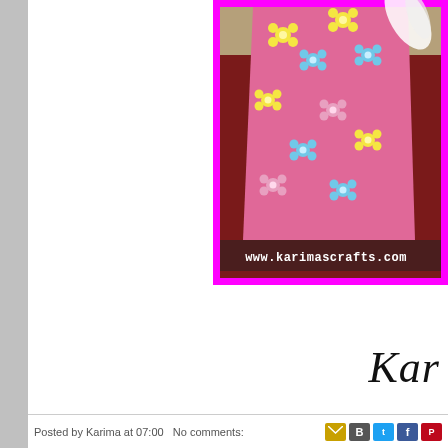[Figure (photo): Photo of a pink flower-patterned bucket or pot decorated with yellow, blue, and white flowers on a pink/magenta background, sitting on a dark red surface. Photo has a magenta/hot pink border. A white feather is visible in the top right corner. Watermark 'www.karimascrafts.com' appears at the bottom of the photo.]
Kar
Posted by Karima at 07:00   No comments: